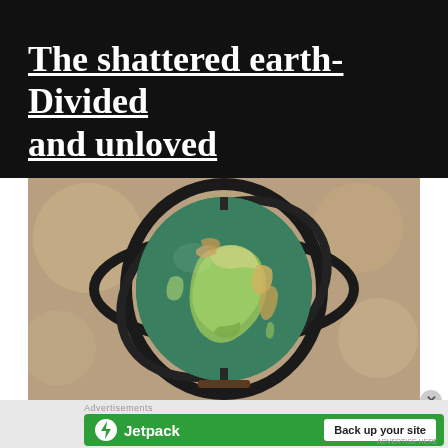The shattered earth- Divided and unloved
[Figure (photo): A decorative globe with colorful countries mounted on a gyroscope-style metal frame, photographed against a blurred bokeh background with soft lights.]
Advertisements
[Figure (screenshot): Jetpack advertisement banner with green background showing the Jetpack logo and lightning bolt icon on the left with 'Jetpack' text, and a white 'Back up your site' button on the right.]